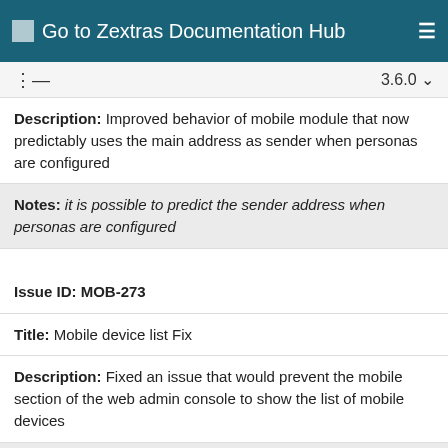Go to Zextras Documentation Hub
Description: Improved behavior of mobile module that now predictably uses the main address as sender when personas are configured
Notes: it is possible to predict the sender address when personas are configured
Issue ID: MOB-273
Title: Mobile device list Fix
Description: Fixed an issue that would prevent the mobile section of the web admin console to show the list of mobile devices
Notes: a devices list is shown